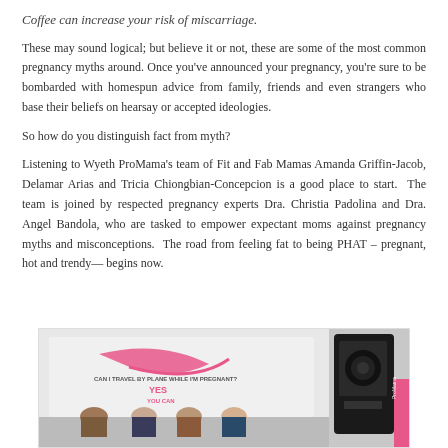Coffee can increase your risk of miscarriage.
These may sound logical; but believe it or not, these are some of the most common pregnancy myths around. Once you've announced your pregnancy, you're sure to be bombarded with homespun advice from family, friends and even strangers who base their beliefs on hearsay or accepted ideologies.
So how do you distinguish fact from myth?
Listening to Wyeth ProMama's team of Fit and Fab Mamas Amanda Griffin-Jacob, Delamar Arias and Tricia Chiongbian-Concepcion is a good place to start. The team is joined by respected pregnancy experts Dra. Christia Padolina and Dra. Angel Bandola, who are tasked to empower expectant moms against pregnancy myths and misconceptions. The road from feeling fat to being PHAT – pregnant, hot and trendy— begins now.
[Figure (photo): Panel discussion photo showing women seated at a table with a backdrop reading 'CAN I TRAVEL BY PLANE WHILE I'M PREGNANT? YES YOU CAN' and a speaker/audio equipment on the right side.]